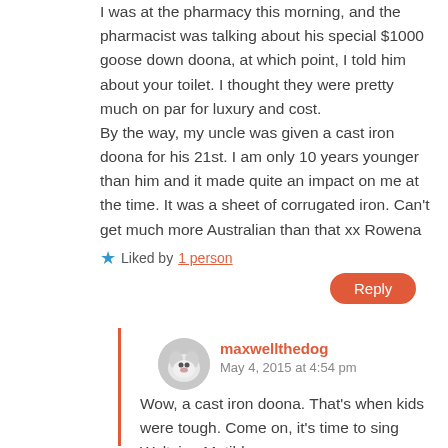I was at the pharmacy this morning, and the pharmacist was talking about his special $1000 goose down doona, at which point, I told him about your toilet. I thought they were pretty much on par for luxury and cost.
By the way, my uncle was given a cast iron doona for his 21st. I am only 10 years younger than him and it made quite an impact on me at the time. It was a sheet of corrugated iron. Can't get much more Australian than that xx Rowena
Liked by 1 person
Reply
maxwellthedog
May 4, 2015 at 4:54 pm
Wow, a cast iron doona. That's when kids were tough. Come on, it's time to sing Waltzing Matilda.
Liked by 1 person
Reply